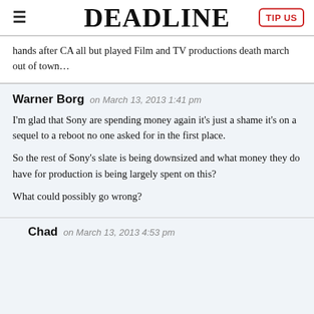DEADLINE | TIP US
hands after CA all but played Film and TV productions death march out of town…
Warner Borg on March 13, 2013 1:41 pm

I'm glad that Sony are spending money again it's just a shame it's on a sequel to a reboot no one asked for in the first place.

So the rest of Sony's slate is being downsized and what money they do have for production is being largely spent on this?

What could possibly go wrong?
Chad on March 13, 2013 4:53 pm